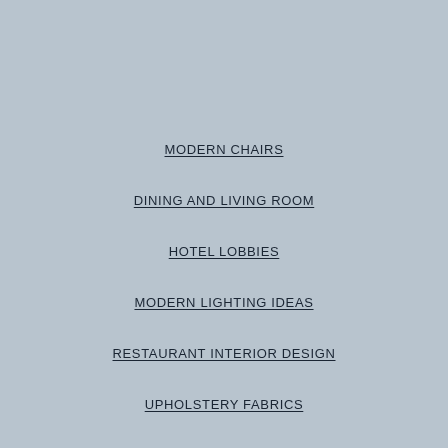MODERN CHAIRS
DINING AND LIVING ROOM
HOTEL LOBBIES
MODERN LIGHTING IDEAS
RESTAURANT INTERIOR DESIGN
UPHOLSTERY FABRICS